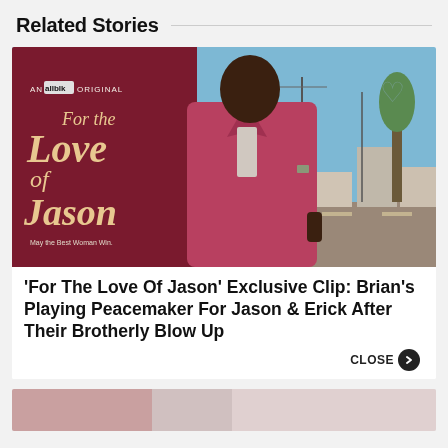Related Stories
[Figure (photo): Promotional image for 'For the Love of Jason', an allblk original. Shows a man in a dark pink/mauve blazer standing in an urban outdoor setting. The show title 'For the Love of Jason' is displayed in large text on the left side against a dark red background. Text reads 'AN allblk ORIGINAL' and 'May the Best Woman Win.']
‘For The Love Of Jason’ Exclusive Clip: Brian’s Playing Peacemaker For Jason & Erick After Their Brotherly Blow Up